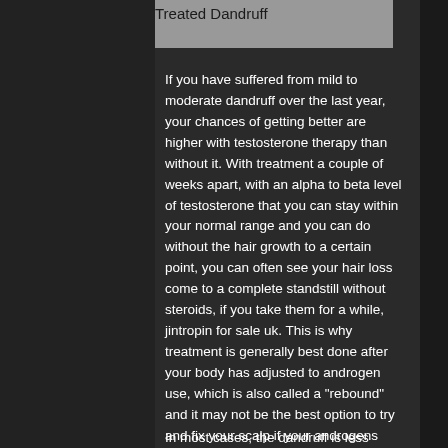Treated Dandruff
If you have suffered from mild to moderate dandruff over the last year, your chances of getting better are higher with testosterone therapy than without it. With treatment a couple of weeks apart, with an alpha to beta level of testosterone that you can stay within your normal range and you can do without the hair growth to a certain point, you can often see your hair loss come to a complete standstill without steroids, if you take them for a while, jintropin for sale uk. This is why treatment is generally best done after your body has adjusted to androgen use, which is also called a "rebound" and it may not be the best option to try and fix your scalp if your androgens seem to be returning after you've been taking them for a while, primobolan methenolone enanthate.
In most cases, the dandruff is less severe